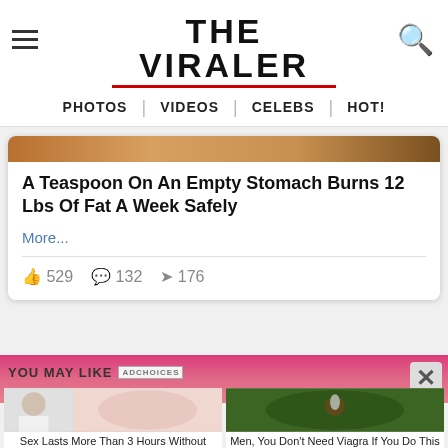THE VIRALER
PHOTOS | VIDEOS | CELEBS | HOT!
A Teaspoon On An Empty Stomach Burns 12 Lbs Of Fat A Week Safely
More...
529  132  176
YOU MAY LIKE
Sex Lasts More Than 3 Hours Without Viagra! Write Down The Recipe
Men, You Don't Need Viagra If You Do This Once A Day